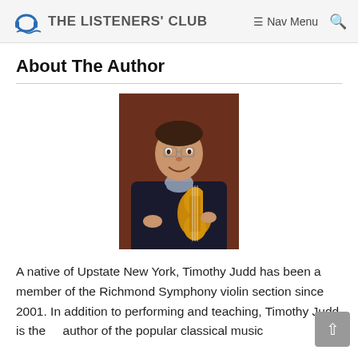THE LISTENERS' CLUB  ≡ Nav Menu  🔍
About The Author
[Figure (photo): Portrait photo of Timothy Judd, a man in a dark jacket holding a violin, smiling, against a dark reddish-brown background.]
A native of Upstate New York, Timothy Judd has been a member of the Richmond Symphony violin section since 2001. In addition to performing and teaching, Timothy Judd is the author of the popular classical music